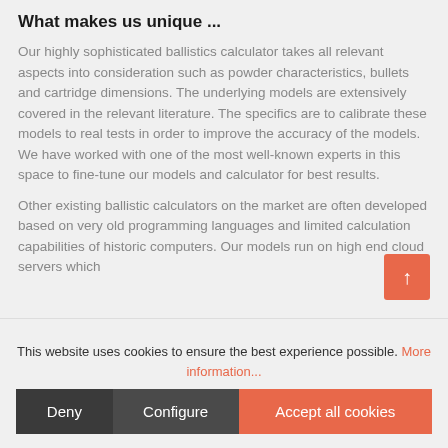What makes us unique ...
Our highly sophisticated ballistics calculator takes all relevant aspects into consideration such as powder characteristics, bullets and cartridge dimensions. The underlying models are extensively covered in the relevant literature. The specifics are to calibrate these models to real tests in order to improve the accuracy of the models. We have worked with one of the most well-known experts in this space to fine-tune our models and calculator for best results.
Other existing ballistic calculators on the market are often developed based on very old programming languages and limited calculation capabilities of historic computers. Our models run on high end cloud servers which
This website uses cookies to ensure the best experience possible. More information...
Deny | Configure | Accept all cookies